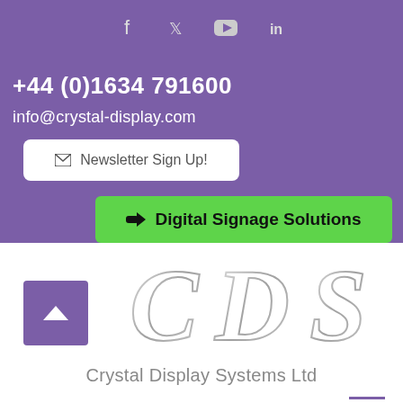[Figure (other): Social media icons: Facebook, Twitter, YouTube, LinkedIn on purple background]
+44 (0)1634 791600
info@crystal-display.com
✉ Newsletter Sign Up!
➡ Digital Signage Solutions
[Figure (logo): CDS 3D metallic chrome letters logo for Crystal Display Systems Ltd]
Crystal Display Systems Ltd